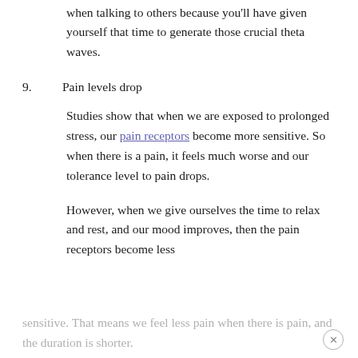when talking to others because you'll have given yourself that time to generate those crucial theta waves.
9. Pain levels drop
Studies show that when we are exposed to prolonged stress, our pain receptors become more sensitive. So when there is a pain, it feels much worse and our tolerance level to pain drops.
However, when we give ourselves the time to relax and rest, and our mood improves, then the pain receptors become less sensitive. That means we feel less pain when there is pain, and the duration is shorter.